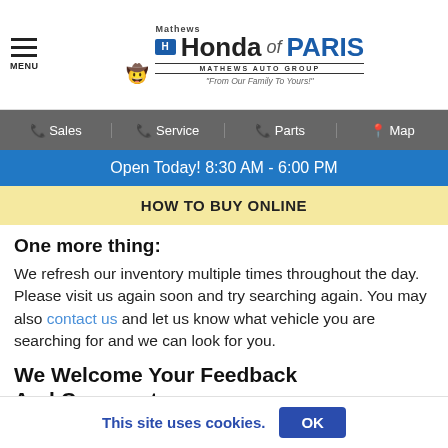Mathews Honda of PARIS — MATHEWS AUTO GROUP — "From Our Family To Yours!"
Sales | Service | Parts | Map
Open Today! 8:30 AM - 6:00 PM
HOW TO BUY ONLINE
One more thing:
We refresh our inventory multiple times throughout the day. Please visit us again soon and try searching again. You may also contact us and let us know what vehicle you are searching for and we can look for you.
We Welcome Your Feedback And Comments
This site uses cookies.